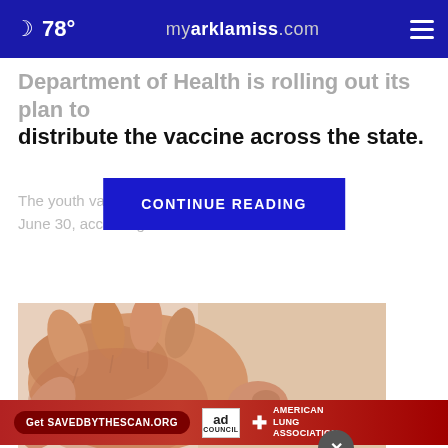78° myarklamiss.com
Department of Health is rolling out its plan to distribute the vaccine across the state.
CONTINUE READING
The youth vacc... in the state June 30, accor... tor of
[Figure (photo): Close-up photo of a hand touching a mole on skin]
Get SAVEDBYTHESCAN.ORG   ad council   AMERICAN LUNG ASSOCIATION.